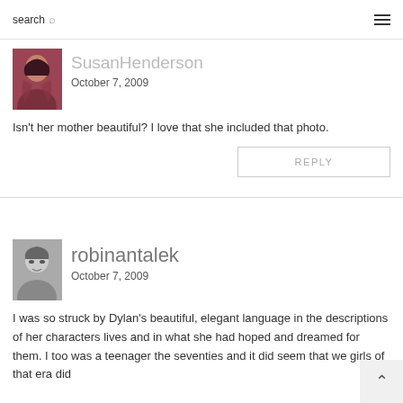search ☰
SusanHenderson
October 7, 2009
Isn't her mother beautiful? I love that she included that photo.
REPLY
robinantalek
October 7, 2009
I was so struck by Dylan's beautiful, elegant language in the descriptions of her characters lives and in what she had hoped and dreamed for them. I too was a teenager the seventies and it did seem that we girls of that era did